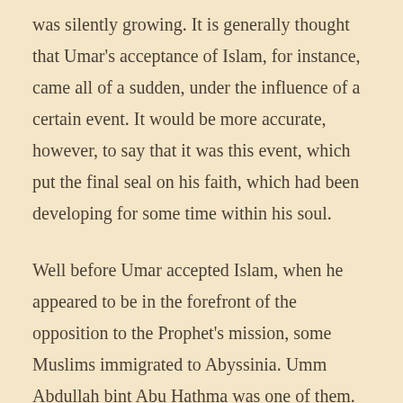was silently growing. It is generally thought that Umar's acceptance of Islam, for instance, came all of a sudden, under the influence of a certain event. It would be more accurate, however, to say that it was this event, which put the final seal on his faith, which had been developing for some time within his soul.
Well before Umar accepted Islam, when he appeared to be in the forefront of the opposition to the Prophet's mission, some Muslims immigrated to Abyssinia. Umm Abdullah bint Abu Hathma was one of them. She tells her story in these words: